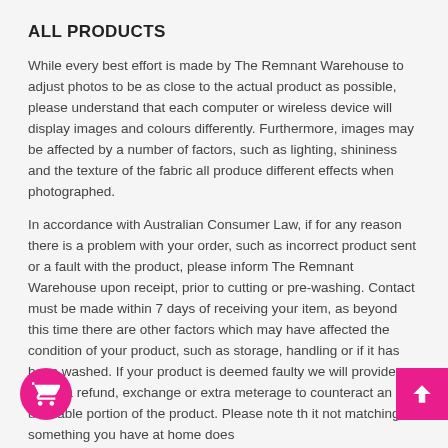ALL PRODUCTS
While every best effort is made by The Remnant Warehouse to adjust photos to be as close to the actual product as possible, please understand that each computer or wireless device will display images and colours differently. Furthermore, images may be affected by a number of factors, such as lighting, shininess and the texture of the fabric all produce different effects when photographed.
In accordance with Australian Consumer Law, if for any reason there is a problem with your order, such as incorrect product sent or a fault with the product, please inform The Remnant Warehouse upon receipt, prior to cutting or pre-washing. Contact must be made within 7 days of receiving your item, as beyond this time there are other factors which may have affected the condition of your product, such as storage, handling or if it has been washed. If your product is deemed faulty we will provide either a refund, exchange or extra meterage to counteract an unusable portion of the product. Please note that it not matching something you have at home does not qualify as faulty. This is not a change of m...